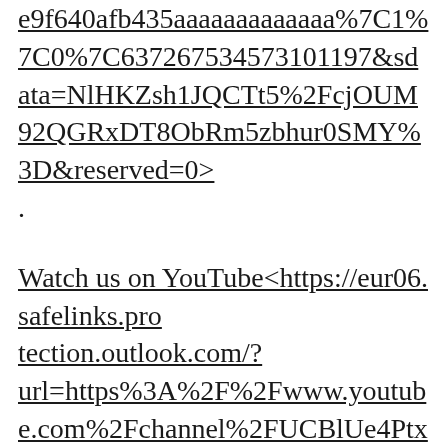e9f640afb435aaaaaaaaaaaaa%7C1%7C0%7C637267534573101197&sdata=NlHKZsh1JQCTt5%2FcjOUM92QGRxDT8ObRm5zbhur0SMY%3D&reserved=0>.
Watch us on YouTube<https://eur06.safelinks.protection.outlook.com/?url=https%3A%2F%2Fwww.youtube.com%2Fchannel%2FUCBlUe4PtxTH_ZBOvClwvmHA&data=02%7C01%7C%7C1f1702c1d3054a341ea808d8077240b9%7C84df9e7fe9f640afb435aaaaaaaaaaaaa%7C1%7C0%7C637267534573101197&sdata=DUCV%2Bbv23jwp1WF4bn8Wd1z8CUKenLz7Rdf0%2BZrNRlw%3